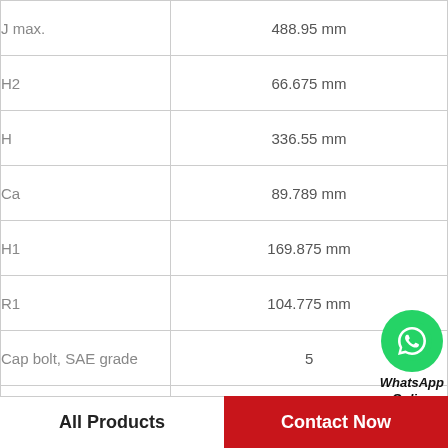| Parameter | Value |
| --- | --- |
| J max. | 488.95 mm |
| H2 | 66.675 mm |
| H | 336.55 mm |
| Ca | 89.789 mm |
| H1 | 169.875 mm |
| R1 | 104.775 mm |
| Cap bolt, SAE grade | 5 |
| Stabilizing ring | SR-32-0 |
[Figure (logo): WhatsApp Online button with green WhatsApp icon and italic bold text 'WhatsApp Online']
All Products
Contact Now